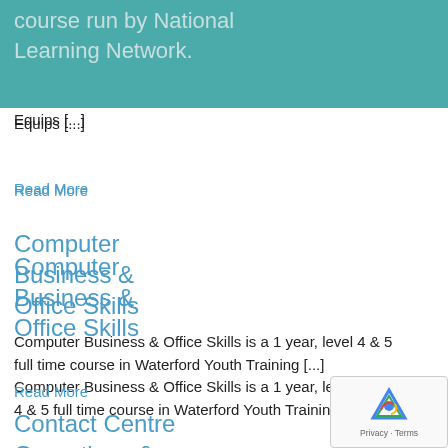course run by National Learning Network. Equips [...]
Read More
Computer Business & Office Skills
Computer Business & Office Skills is a 1 year, level 4 & 5 full time course in Waterford Youth Training [...]
Read More
Contact Centre Operations &